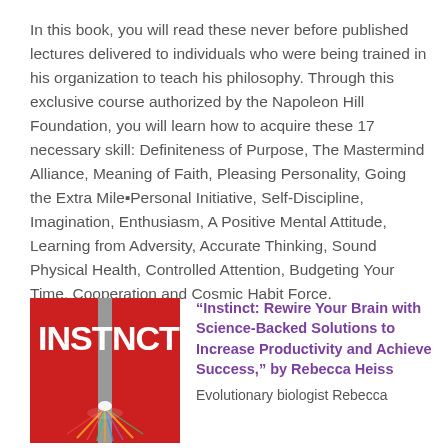In this book, you will read these never before published lectures delivered to individuals who were being trained in his organization to teach his philosophy. Through this exclusive course authorized by the Napoleon Hill Foundation, you will learn how to acquire these 17 necessary skill: Definiteness of Purpose, The Mastermind Alliance, Meaning of Faith, Pleasing Personality, Going the Extra Mile▪Personal Initiative, Self-Discipline, Imagination, Enthusiasm, A Positive Mental Attitude, Learning from Adversity, Accurate Thinking, Sound Physical Health, Controlled Attention, Budgeting Your Time, Cooperation and Cosmic Habit Force.
[Figure (illustration): Book cover for 'INSTINCT' with red background, white text showing INSTINCT with a stylized brain/roots graphic at the bottom]
“Instinct: Rewire Your Brain with Science-Backed Solutions to Increase Productivity and Achieve Success,” by Rebecca Heiss
Evolutionary biologist Rebecca